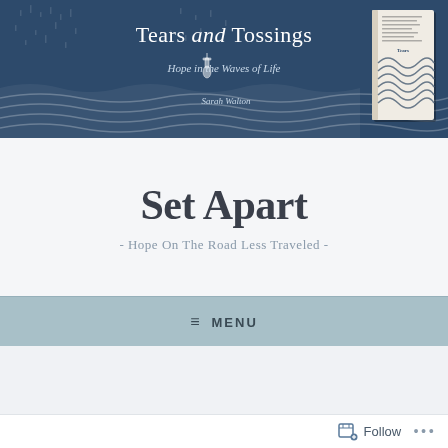[Figure (illustration): Dark navy blue header banner with wave patterns, a hand/lighthouse icon, decorative rain/dots pattern, and a book cover image on the right. Contains title text 'Tears and Tossings', subtitle 'Hope in the Waves of Life', and author 'Sarah Walton'.]
Set Apart
- Hope On The Road Less Traveled -
≡  MENU
Follow ...